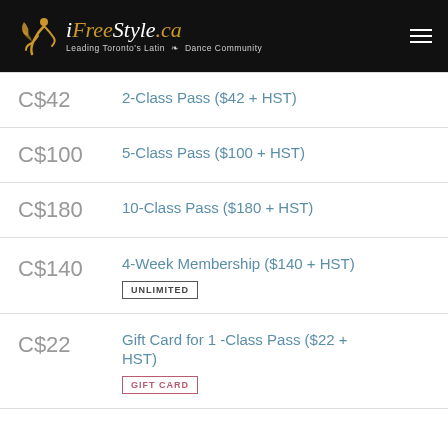[Figure (logo): iFreeStyle.ca logo with golden dancer figure and tagline 'Leading Toronto's Latin Dance Community' on black header bar]
C$42 — 2-Class Pass ($42 + HST)
C$100 — 5-Class Pass ($100 + HST)
C$180 — 10-Class Pass ($180 + HST)
C$140 — 4-Week Membership ($140 + HST) UNLIMITED
C$22 — Gift Card for 1 -Class Pass ($22 + HST) GIFT CARD